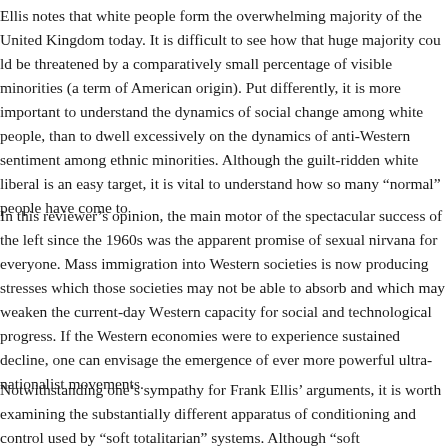Ellis notes that white people form the overwhelming majority of the United Kingdom today. It is difficult to see how that huge majority could be threatened by a comparatively small percentage of visible minorities (a term of American origin). Put differently, it is more important to understand the dynamics of social change among white people, than to dwell excessively on the dynamics of anti-Western sentiment among ethnic minorities. Although the guilt-ridden white liberal is an easy target, it is vital to understand how so many "normal" people have come to
In this reviewer's opinion, the main motor of the spectacular success of the left since the 1960s was the apparent promise of sexual nirvana for everyone. Mass immigration into Western societies is now producing stresses which those societies may not be able to absorb and which may weaken the current-day Western capacity for social and technological progress. If the Western economies were to experience sustained decline, one can envisage the emergence of ever more powerful ultra-nationalist movements.
Notwithstanding one's sympathy for Frank Ellis' arguments, it is worth examining the substantially different apparatus of conditioning and control used by "soft totalitarian" systems. Although "soft totalitarianism" is arguably